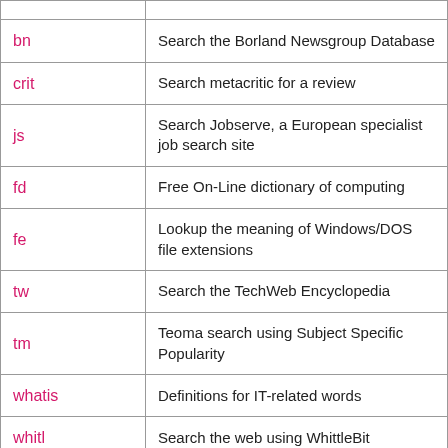| Shortcut | Description |
| --- | --- |
| bn | Search the Borland Newsgroup Database |
| crit | Search metacritic for a review |
| js | Search Jobserve, a European specialist job search site |
| fd | Free On-Line dictionary of computing |
| fe | Lookup the meaning of Windows/DOS file extensions |
| tw | Search the TechWeb Encyclopedia |
| tm | Teoma search using Subject Specific Popularity |
| whatis | Definitions for IT-related words |
| whitl | Search the web using WhittleBit |
| uktv | UK Television guide |
| ukjny | UK Public transport Journey Planner |